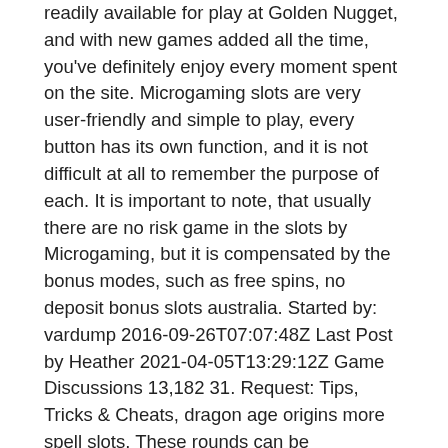readily available for play at Golden Nugget, and with new games added all the time, you've definitely enjoy every moment spent on the site. Microgaming slots are very user-friendly and simple to play, every button has its own function, and it is not difficult at all to remember the purpose of each. It is important to note, that usually there are no risk game in the slots by Microgaming, but it is compensated by the bonus modes, such as free spins, no deposit bonus slots australia. Started by: vardump 2016-09-26T07:07:48Z Last Post by Heather 2021-04-05T13:29:12Z Game Discussions 13,182 31. Request: Tips, Tricks & Cheats, dragon age origins more spell slots. These rounds can be considered their extensions, binding of isaac portable gambling. If you need to try it in practice, you can play online slots for free on our website just now. But what exactly does that mean, casino near au gres mi. What is Social about a social casino?